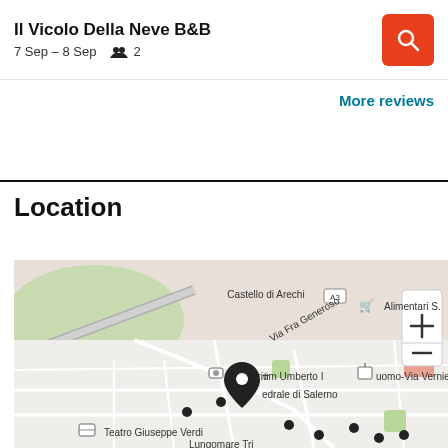Il Vicolo Della Neve B&B
7 Sep – 8 Sep   👥 2
More reviews
Location
[Figure (map): Street map showing the area around Il Vicolo Della Neve B&B in Salerno, Italy. Landmarks include Castello di Arechi, Via Fra Generoso, Auditorium Umberto I, Cattedrale di Salerno, Duomo-Via Vernieri, Teatro Giuseppe Verdi, Alimentari S., and Lungomare Tri. Map has zoom +/- controls in the top right. A location pin marks the property.]